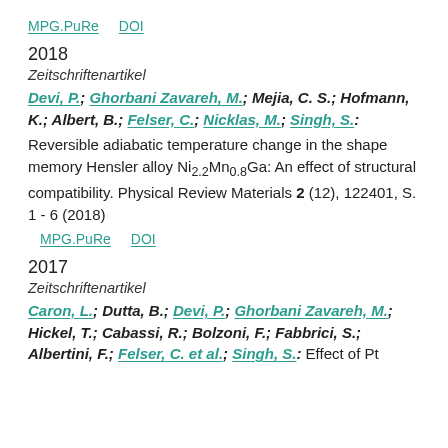MPG.PuRe   DOI
2018
Zeitschriftenartikel
Devi, P.; Ghorbani Zavareh, M.; Mejia, C. S.; Hofmann, K.; Albert, B.; Felser, C.; Nicklas, M.; Singh, S.: Reversible adiabatic temperature change in the shape memory Hensler alloy Ni2.2Mn0.8Ga: An effect of structural compatibility. Physical Review Materials 2 (12), 122401, S. 1 - 6 (2018)
MPG.PuRe   DOI
2017
Zeitschriftenartikel
Caron, L.; Dutta, B.; Devi, P.; Ghorbani Zavareh, M.; Hickel, T.; Cabassi, R.; Bolzoni, F.; Fabbrici, S.; Albertini, F.; Felser, C. et al.; Singh, S.: Effect of Pt